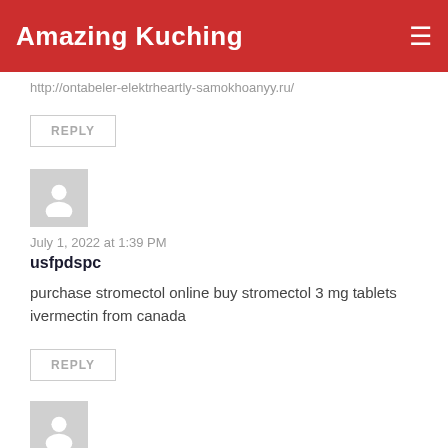Amazing Kuching
http://ontabeler-elektrheartly-samokhoanyy.ru/
REPLY
July 1, 2022 at 1:39 PM
usfpdspc
purchase stromectol online buy stromectol 3 mg tablets ivermectin from canada
REPLY